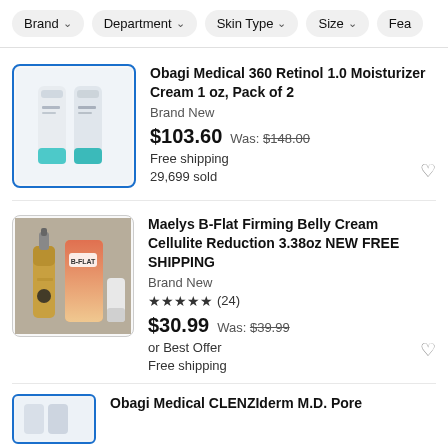Filter pills: Brand, Department, Skin Type, Size, Fea[tures]
[Figure (photo): Two white tubes with teal/turquoise caps side by side - Obagi Medical moisturizer cream]
Obagi Medical 360 Retinol 1.0 Moisturizer Cream 1 oz, Pack of 2
Brand New
$103.60  Was: $148.00
Free shipping
29,699 sold
[Figure (photo): Gold/rose gradient bottle and B-Flat cream tube on granite surface - Maelys B-Flat firming belly cream]
Maelys B-Flat Firming Belly Cream Cellulite Reduction 3.38oz NEW FREE SHIPPING
Brand New
★★★★★ (24)
$30.99  Was: $39.99
or Best Offer
Free shipping
Obagi Medical CLENZIderm M.D. Pore